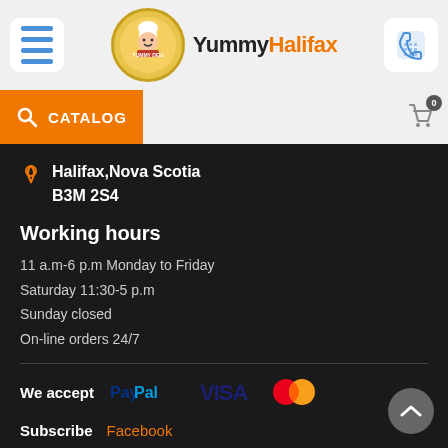[Figure (logo): YummyHalifax deli logo with chef illustration and brand name]
CATALOG
Halifax,Nova Scotia B3M 2S4
Working hours
11 a.m-6 p.m Monday to Friday
Saturday 11:30-5 p.m
Sunday closed
On-line orders 24/7
We accept PayPal VISA Mastercard
Subscribe Facebook